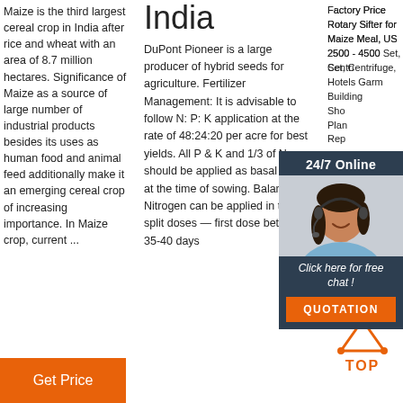Maize is the third largest cereal crop in India after rice and wheat with an area of 8.7 million hectares. Significance of Maize as a source of large number of industrial products besides its uses as human food and animal feed additionally make it an emerging cereal crop of increasing importance. In Maize crop, current ...
India
DuPont Pioneer is a large producer of hybrid seeds for agriculture. Fertilizer Management: It is advisable to follow N: P: K application at the rate of 48:24:20 per acre for best yields. All P & K and 1/3 of N should be applied as basal dose at the time of sowing. Balance Nitrogen can be applied in two split doses — first dose between 35-40 days
Factory Price Rotary Sifter for Maize Meal, US 2500 - 4500 Set, Centrifuge, Hotels Garment Building Shoe Plant Republic
[Figure (infographic): 24/7 Online chat widget with a photo of a woman wearing a headset, a dark blue background, text 'Click here for free chat!' and an orange QUOTATION button]
[Figure (logo): Orange TOP icon with triangular arrow shape and the word TOP in orange capital letters]
Get Price